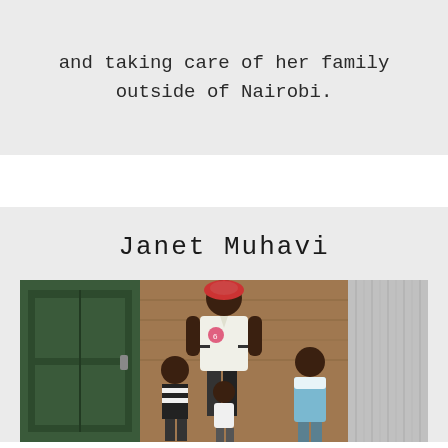and taking care of her family outside of Nairobi.
Janet Muhavi
[Figure (photo): A woman standing with three children in front of a mud-brick wall with a green metal door and corrugated metal sheet. The woman wears a white polo shirt and a red floral headwrap. The children wear school uniforms and casual clothes.]